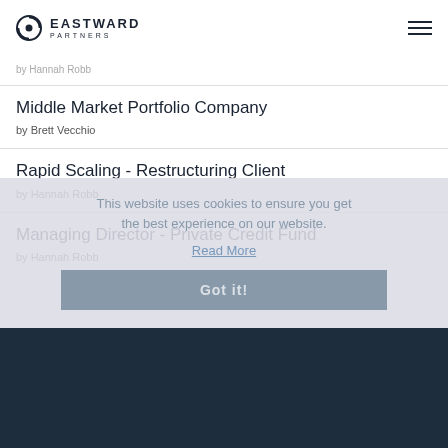EASTWARD PARTNERS
by Hannah Robb
Middle Market Portfolio Company
by Brett Vecchio
Rapid Scaling - Restructuring Client
by Hannah Robb
Managing Director - Private Credit Fund
by Hannah Robb
This website uses cookies to ensure you get the best experience on our website. Read More Got it!